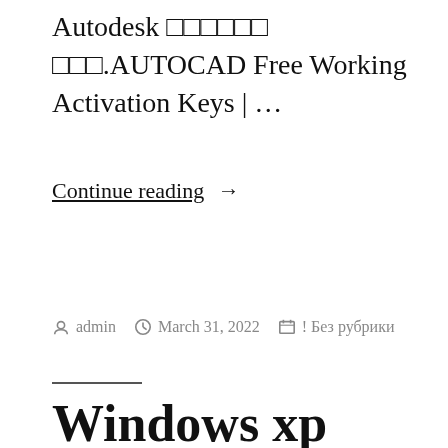Autodesk □□□□□□ □□□.AUTOCAD Free Working Activation Keys | …
Continue reading →
Posted by admin   March 31, 2022   ! Без рубрики
Windows xp